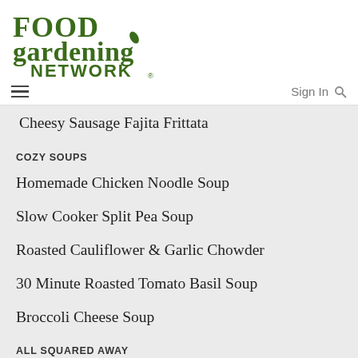[Figure (logo): Food Gardening Network logo in dark green bold serif font with a leaf accent]
≡  Sign In 🔍
Cheesy Sausage Fajita Frittata
COZY SOUPS
Homemade Chicken Noodle Soup
Slow Cooker Split Pea Soup
Roasted Cauliflower & Garlic Chowder
30 Minute Roasted Tomato Basil Soup
Broccoli Cheese Soup
ALL SQUARED AWAY
Easy Butter Pecan Cake Mix Squares
Oatmeal Chocolate Chip Raisin Bars